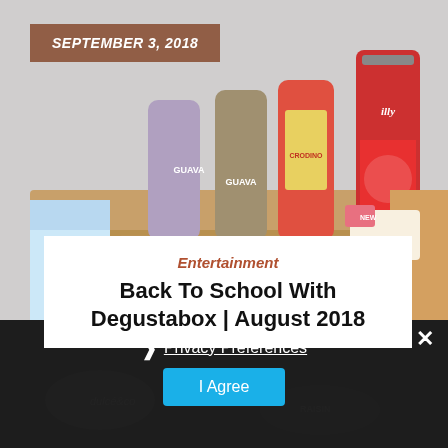[Figure (photo): Photograph of beverage cans (Guava branded cans, a Crodino can), an illy coffee tin, and a cardboard subscription box on a surface, with a carton of drink partially visible on the left and some snack packaging on the right]
SEPTEMBER 3, 2018
Entertainment
Back To School With Degustabox | August 2018
Privacy Preferences
I Agree